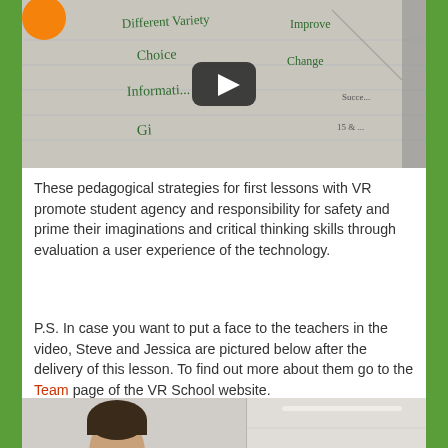[Figure (screenshot): Video thumbnail showing a whiteboard with handwritten words including 'Different Variety', 'Choice', 'Informati...', 'Gi', 'Improve', 'Change' with a YouTube-style play button overlay and an orange circle logo in the top left]
These pedagogical strategies for first lessons with VR promote student agency and responsibility for safety and prime their imaginations and critical thinking skills through evaluation a user experience of the technology.
P.S. In case you want to put a face to the teachers in the video, Steve and Jessica are pictured below after the delivery of this lesson. To find out more about them go to the Team page of the VR School website.
[Figure (photo): Photo of two teachers (Steve and Jessica) cropped at bottom of page, showing heads/upper bodies with a ceiling visible on the right side]